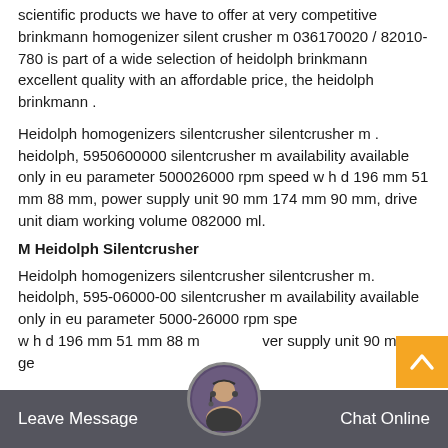scientific products we have to offer at very competitive brinkmann homogenizer silent crusher m 036170020 / 82010-780 is part of a wide selection of heidolph brinkmann excellent quality with an affordable price, the heidolph brinkmann .
Heidolph homogenizers silentcrusher silentcrusher m . heidolph, 5950600000 silentcrusher m availability available only in eu parameter 500026000 rpm speed w h d 196 mm 51 mm 88 mm, power supply unit 90 mm 174 mm 90 mm, drive unit diam working volume 082000 ml.
M Heidolph Silentcrusher
Heidolph homogenizers silentcrusher silentcrusher m. heidolph, 595-06000-00 silentcrusher m availability available only in eu parameter 5000-26000 rpm spe w h d 196 mm 51 mm 88 m ver supply unit 90 mm ge